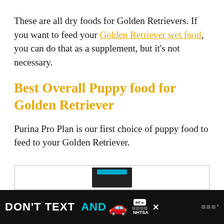These are all dry foods for Golden Retrievers. If you want to feed your Golden Retriever wet food, you can do that as a supplement, but it's not necessary.
Best Overall Puppy food for Golden Retriever
Purina Pro Plan is our first choice of puppy food to feed to your Golden Retriever.
[Figure (photo): Product image placeholder showing a dark package with a blue stripe, partially visible in a white box]
[Figure (infographic): Advertisement banner: DON'T TEXT AND [car emoji] — NHTSA ad with close button and branding]